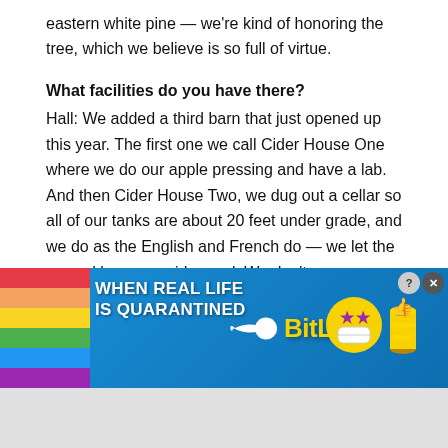eastern white pine — we're kind of honoring the tree, which we believe is so full of virtue.
What facilities do you have there?
Hall: We added a third barn that just opened up this year. The first one we call Cider House One where we do our apple pressing and have a lab. And then Cider House Two, we dug out a cellar so all of our tanks are about 20 feet under grade, and we do as the English and French do — we let the ground keep our cider cool. We don't use refrigeration. And Cider House Three that just opened up is a full-time barrel house. We've had a tasting room, but since COVID we've kind of closed the internal parts and now it is just outside. We
[Figure (screenshot): Advertisement banner for BitLife game: rainbow stripe on left, text 'WHEN REAL LIFE IS QUARANTINED' in white bold capitals, sperm icon, BitLife logo in yellow bold text, character icons (star face with mask, coins), close/help buttons in top right corner]